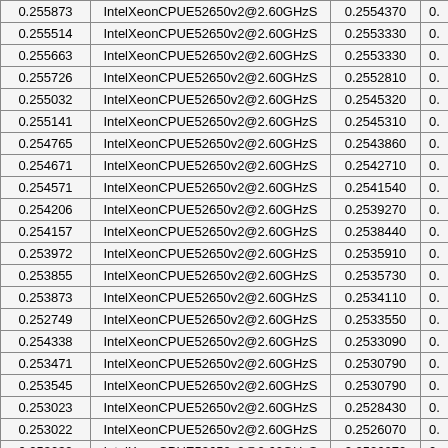| 0.255873 | IntelXeonCPUE52650v2@2.60GHzS | 0.2554370 | 0. |
| 0.255514 | IntelXeonCPUE52650v2@2.60GHzS | 0.2553330 | 0. |
| 0.255663 | IntelXeonCPUE52650v2@2.60GHzS | 0.2553330 | 0. |
| 0.255726 | IntelXeonCPUE52650v2@2.60GHzS | 0.2552810 | 0. |
| 0.255032 | IntelXeonCPUE52650v2@2.60GHzS | 0.2545320 | 0. |
| 0.255141 | IntelXeonCPUE52650v2@2.60GHzS | 0.2545310 | 0. |
| 0.254765 | IntelXeonCPUE52650v2@2.60GHzS | 0.2543860 | 0. |
| 0.254671 | IntelXeonCPUE52650v2@2.60GHzS | 0.2542710 | 0. |
| 0.254571 | IntelXeonCPUE52650v2@2.60GHzS | 0.2541540 | 0. |
| 0.254206 | IntelXeonCPUE52650v2@2.60GHzS | 0.2539270 | 0. |
| 0.254157 | IntelXeonCPUE52650v2@2.60GHzS | 0.2538440 | 0. |
| 0.253972 | IntelXeonCPUE52650v2@2.60GHzS | 0.2535910 | 0. |
| 0.253855 | IntelXeonCPUE52650v2@2.60GHzS | 0.2535730 | 0. |
| 0.253873 | IntelXeonCPUE52650v2@2.60GHzS | 0.2534110 | 0. |
| 0.252749 | IntelXeonCPUE52650v2@2.60GHzS | 0.2533550 | 0. |
| 0.254338 | IntelXeonCPUE52650v2@2.60GHzS | 0.2533090 | 0. |
| 0.253471 | IntelXeonCPUE52650v2@2.60GHzS | 0.2530790 | 0. |
| 0.253545 | IntelXeonCPUE52650v2@2.60GHzS | 0.2530790 | 0. |
| 0.253023 | IntelXeonCPUE52650v2@2.60GHzS | 0.2528430 | 0. |
| 0.253022 | IntelXeonCPUE52650v2@2.60GHzS | 0.2526070 | 0. |
| 0.253032 | IntelXeonCPUE52650v2@2.60GHzS | 0.2526070 | 0. |
| 0.252918 | IntelXeonCPUE52650v2@2.60GHzS | 0.2525560 | 0. |
| 0.251971 | IntelXeonCPUE52650v2@2.60GHzS | 0.2521550 | 0. |
| 0.25188 | IntelXeonCPUE52650v2@2.60GHzS | 0.2521310 | 0. |